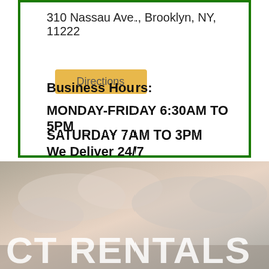310 Nassau Ave., Brooklyn, NY, 11222
Directions
Business Hours:
MONDAY-FRIDAY  6:30AM TO 5PM
SATURDAY  7AM TO 3PM
We Deliver 24/7
[Figure (photo): Sky/clouds background image with large white text 'CT RENTALS' overlaid at the bottom]